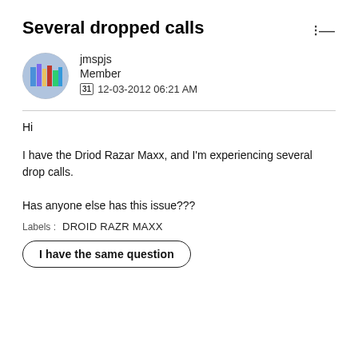Several dropped calls
[Figure (photo): Circular user avatar photo showing stacked books or similar colorful items]
jmspjs
Member
31 12-03-2012 06:21 AM
Hi
I have the Driod Razar Maxx, and I'm experiencing several drop calls.

Has anyone else has this issue???
Labels:  DROID RAZR MAXX
I have the same question